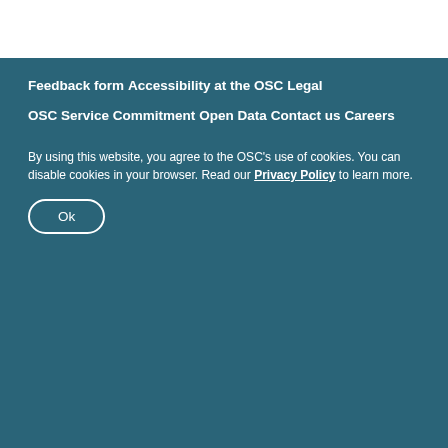Feedback form
Accessibility at the OSC
Legal
OSC Service Commitment
Open Data
Contact us
Careers
By using this website, you agree to the OSC's use of cookies. You can disable cookies in your browser. Read our Privacy Policy to learn more.
Ok